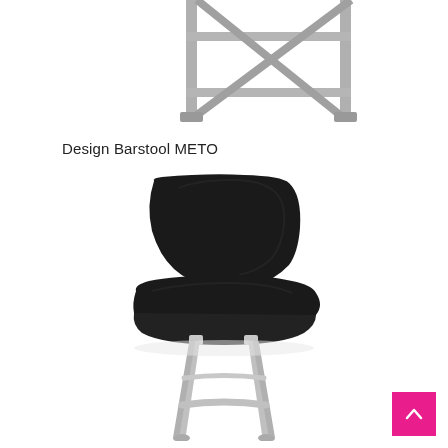[Figure (photo): Partial view of a table or rack with grey metal legs and frame, cropped at top of page]
Design Barstool METO
[Figure (photo): Design Barstool METO with black molded seat and backrest, chrome metal legs, viewed from a slight angle]